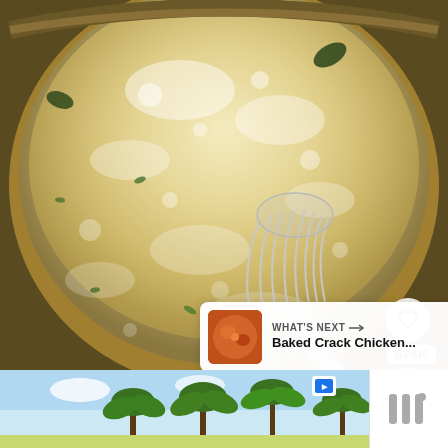[Figure (photo): Close-up overhead view of a bubbling creamy sauce with herbs being whisked in a round pot. A metal whisk is visible in the lower-right portion of the pot. The sauce appears golden and frothy with green herb flecks.]
[Figure (screenshot): UI overlay on the photo: a circular heart/like button showing 674K likes, and a circular share button with a share icon.]
[Figure (screenshot): What's Next panel in the bottom-right corner showing a thumbnail of Baked Crack Chicken with the label 'WHAT'S NEXT →' and title 'Baked Crack Chicken...']
[Figure (photo): Bottom advertisement bar showing palm trees against a blue sky, with an ad flag icon and a brand logo (three vertical bars) on the right side.]